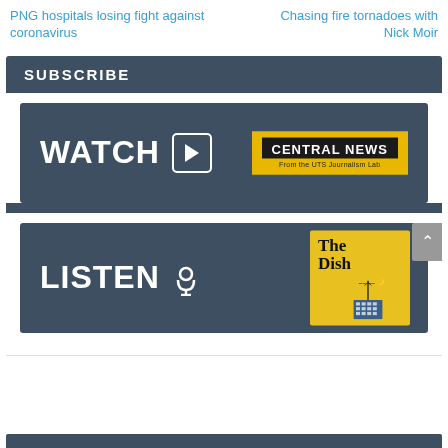PNG hospitals losing fight against coronavirus
Chasing fire tornadoes with Nick Moir
SUBSCRIBE
[Figure (screenshot): Watch banner with play icon and Central News badge on dark blue background]
[Figure (screenshot): Listen banner with podcast icon and The Dish badge on dark blue background]